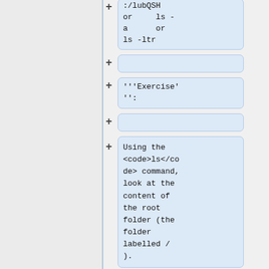:/lubQSH or ls -a or ls -ltr
'''Exercise'''
Using the <code>ls</code> command, look at the content of the root folder (the folder labelled /).